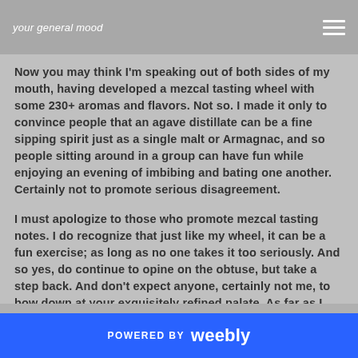your general mood
Now you may think I'm speaking out of both sides of my mouth, having developed a mezcal tasting wheel with some 230+ aromas and flavors. Not so. I made it only to convince people that an agave distillate can be a fine sipping spirit just as a single malt or Armagnac, and so people sitting around in a group can have fun while enjoying an evening of imbibing and bating one another. Certainly not to promote serious disagreement.
I must apologize to those who promote mezcal tasting notes. I do recognize that just like my wheel, it can be a fun exercise; as long as no one takes it too seriously. And so yes, do continue to opine on the obtuse, but take a step back. And don't expect anyone, certainly not me, to bow down at your exquisitely refined palate. As far as I know, you're using my wheel before publishing in print or online or orally spouting off your words of self-proclaimed wisdom. Shaming the rest
POWERED BY weebly